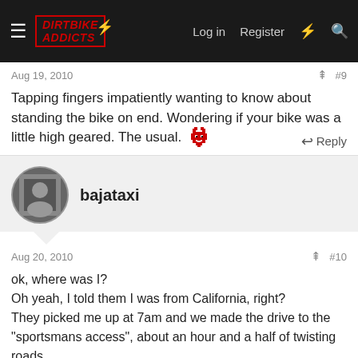Dirt Bike Addicts — Log in  Register
Aug 19, 2010  #9
Tapping fingers impatiently wanting to know about standing the bike on end. Wondering if your bike was a little high geared. The usual. [devil emoji]
Reply
bajataxi
Aug 20, 2010  #10
ok, where was I?
Oh yeah, I told them I was from California, right?
They picked me up at 7am and we made the drive to the "sportsmans access", about an hour and a half of twisting roads with lots of deer make a slow ride. Beautiful country with clouds clinging to the mtns, amazing.
I had the pre ride jitters, a good nervous feeling, not knowing